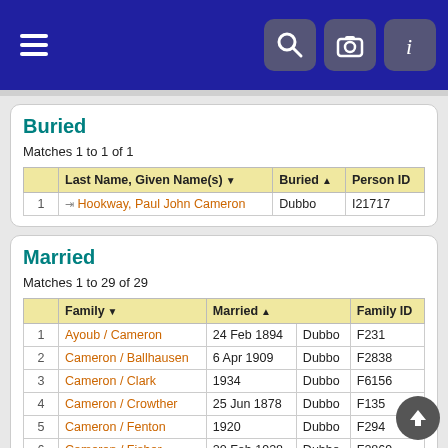Navigation bar with hamburger menu, search, camera, and info icons
Buried
Matches 1 to 1 of 1
|  | Last Name, Given Name(s) | Buried | Person ID |
| --- | --- | --- | --- |
| 1 | Hookway, Paul John Cameron | Dubbo | I21717 |
Married
Matches 1 to 29 of 29
|  | Family | Married |  | Family ID |
| --- | --- | --- | --- | --- |
| 1 | Ayoub / Cameron | 24 Feb 1894 | Dubbo | F231 |
| 2 | Cameron / Ballhausen | 6 Apr 1909 | Dubbo | F2838 |
| 3 | Cameron / Clark | 1934 | Dubbo | F6156 |
| 4 | Cameron / Crowther | 25 Jun 1878 | Dubbo | F135 |
| 5 | Cameron / Fenton | 1920 | Dubbo | F294 |
| 6 | Cameron / Fisher | 20 Feb 1928 | Dubbo | F2869 |
| 7 | Cameron / Granger | 1878 | Dubbo | F2923 |